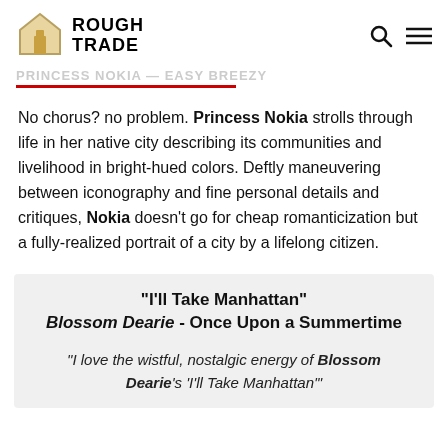Rough Trade
No chorus? no problem. Princess Nokia strolls through life in her native city describing its communities and livelihood in bright-hued colors. Deftly maneuvering between iconography and fine personal details and critiques, Nokia doesn't go for cheap romanticization but a fully-realized portrait of a city by a lifelong citizen.
"I'll Take Manhattan"
Blossom Dearie - Once Upon a Summertime
"I love the wistful, nostalgic energy of Blossom Dearie's 'I'll Take Manhattan'"